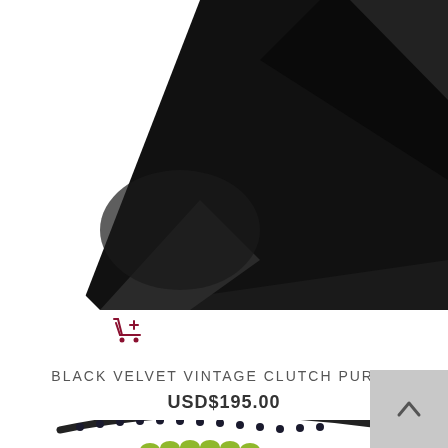[Figure (photo): Black velvet clutch purse photographed from above on a white background, showing a dark triangular fabric fold.]
[Figure (other): Shopping cart add icon in dark red/maroon color.]
BLACK VELVET VINTAGE CLUTCH PURSE
USD$195.00
[Figure (photo): Close-up of a beaded decorative item with yellow-green, red, and dark beads arranged in a pattern on a white background.]